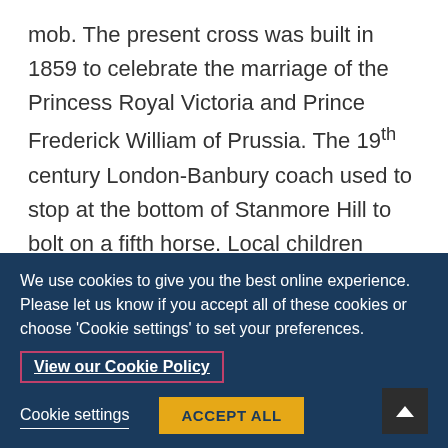mob. The present cross was built in 1859 to celebrate the marriage of the Princess Royal Victoria and Prince Frederick William of Prussia. The 19th century London-Banbury coach used to stop at the bottom of Stanmore Hill to bolt on a fifth horse. Local children would gather to watch and chant ‘Ride a cock horse to Banbury Cross’. Who do you think the fine lady
We use cookies to give you the best online experience. Please let us know if you accept all of these cookies or choose ‘Cookie settings’ to set your preferences.
View our Cookie Policy
Cookie settings
ACCEPT ALL